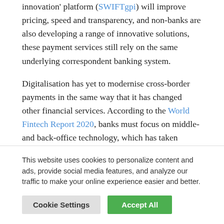innovation' platform (SWIFTgpi) will improve pricing, speed and transparency, and non-banks are also developing a range of innovative solutions, these payment services still rely on the same underlying correspondent banking system.
Digitalisation has yet to modernise cross-border payments in the same way that it has changed other financial services. According to the World Fintech Report 2020, banks must focus on middle- and back-office technology, which has taken second place to front-end developments, and seek partnerships with fintech firms.
This website uses cookies to personalize content and ads, provide social media features, and analyze our traffic to make your online experience easier and better.